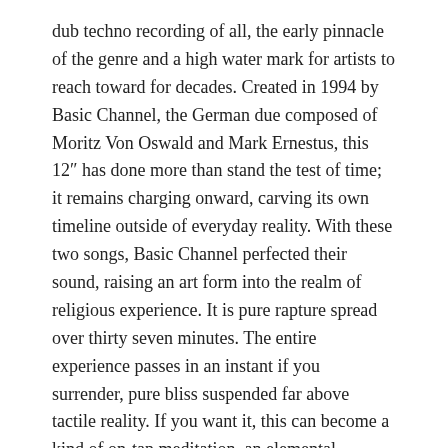dub techno recording of all, the early pinnacle of the genre and a high water mark for artists to reach toward for decades. Created in 1994 by Basic Channel, the German due composed of Moritz Von Oswald and Mark Ernestus, this 12″ has done more than stand the test of time; it remains charging onward, carving its own timeline outside of everyday reality. With these two songs, Basic Channel perfected their sound, raising an art form into the realm of religious experience. It is pure rapture spread over thirty seven minutes. The entire experience passes in an instant if you surrender, pure bliss suspended far above tactile reality. If you want it, this can become a kind of on-tap meditation, an elemental recording used to send your mind where it needs to go at the push of a button.
Without Basic Channel, and without this record in